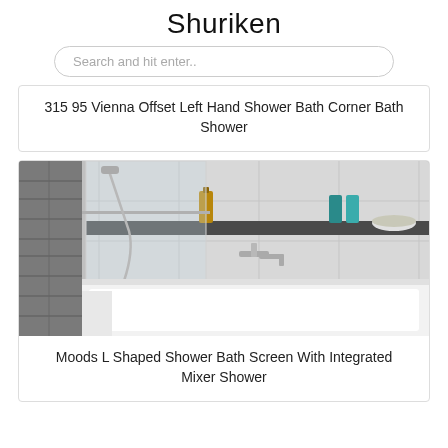Shuriken
Search and hit enter..
315 95 Vienna Offset Left Hand Shower Bath Corner Bath Shower
[Figure (photo): Photo of an L-shaped shower bath with glass screen, wall-mounted mixer tap, dark shelf with toiletries including amber and teal bottles and a bowl, set against light grey tiles.]
Moods L Shaped Shower Bath Screen With Integrated Mixer Shower